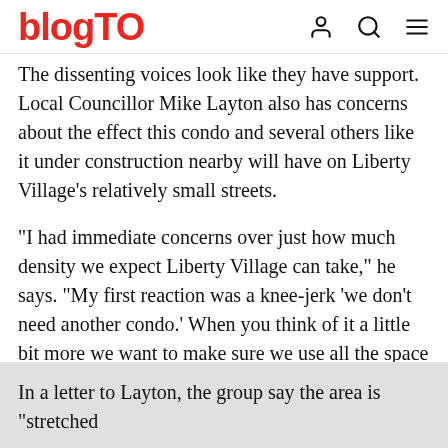blogTO
The dissenting voices look like they have support. Local Councillor Mike Layton also has concerns about the effect this condo and several others like it under construction nearby will have on Liberty Village's relatively small streets.
"I had immediate concerns over just how much density we expect Liberty Village can take," he says. "My first reaction was a knee-jerk 'we don't need another condo.' When you think of it a little bit more we want to make sure we use all the space appropriately and there are some spaces there that aren't best used."
In a letter to Layton, the group say the area is "stretched